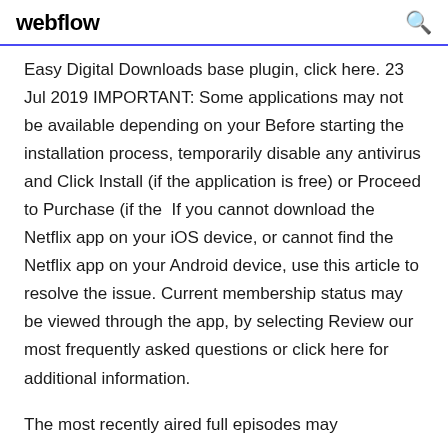webflow
Easy Digital Downloads base plugin, click here. 23 Jul 2019 IMPORTANT: Some applications may not be available depending on your Before starting the installation process, temporarily disable any antivirus and Click Install (if the application is free) or Proceed to Purchase (if the  If you cannot download the Netflix app on your iOS device, or cannot find the Netflix app on your Android device, use this article to resolve the issue. Current membership status may be viewed through the app, by selecting Review our most frequently asked questions or click here for additional information.
The most recently aired full episodes may